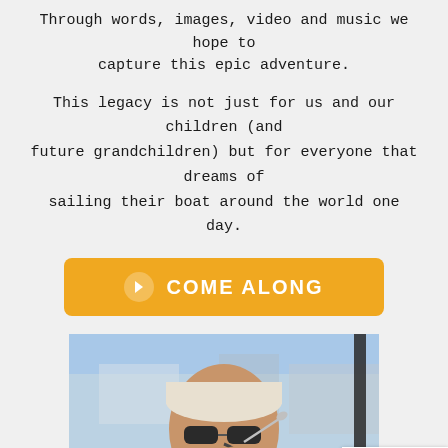Through words, images, video and music we hope to capture this epic adventure.
This legacy is not just for us and our children (and future grandchildren) but for everyone that dreams of sailing their boat around the world one day.
[Figure (other): Orange button with right-arrow icon and text COME ALONG]
[Figure (photo): Man wearing sunglasses and a black BOSS polo shirt eating with a spoon, with boats in background]
[Figure (other): reCAPTCHA badge with Privacy and Terms links]